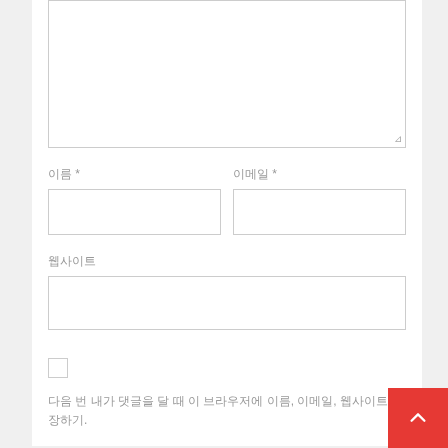[Figure (screenshot): Large textarea input field with resize handle at bottom right]
이름 *
[Figure (screenshot): Name input field]
이메일 *
[Figure (screenshot): Email input field]
웹사이트
[Figure (screenshot): Website URL input field]
[Figure (screenshot): Checkbox unchecked]
다음 번 내가 댓글을 달 때 이 브라우저에 이름, 이메일, 웹사이트 저장하기.